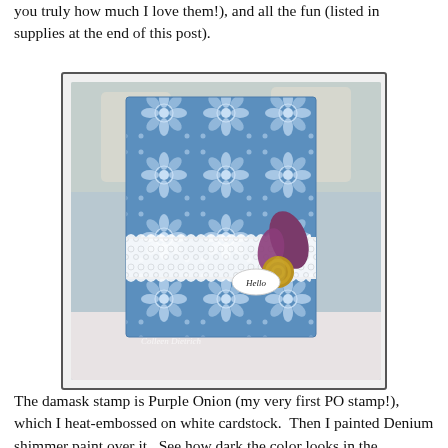you truly how much I love them!), and all the fun (listed in supplies at the end of this post).
[Figure (photo): A handmade greeting card featuring a blue damask-stamped pattern on white cardstock that has been heat-embossed and painted with Denium shimmer paint. A white lace trim runs horizontally across the lower portion of the card. A purple felt leaf and a mustard yellow rolled rose are layered on the right side, along with a small oval white tag reading 'Hello'. The card is photographed on a light pink/white surface with a blurred rustic background. A watermark reads 'Colleen Dietrich'.]
The damask stamp is Purple Onion (my very first PO stamp!), which I heat-embossed on white cardstock.  Then I painted Denium shimmer paint over it.  See how dark the color looks in the